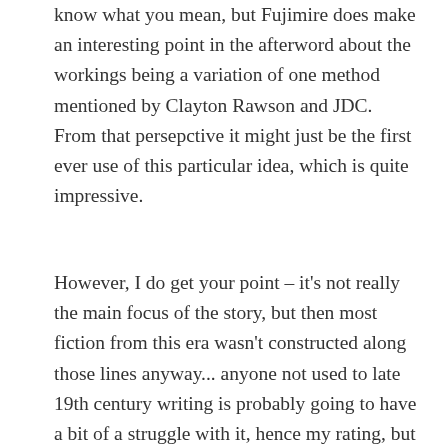know what you mean, but Fujimire does make an interesting point in the afterword about the workings being a variation of one method mentioned by Clayton Rawson and JDC. From that persepctive it might just be the first ever use of this particular idea, which is quite impressive.
However, I do get your point – it's not really the main focus of the story, but then most fiction from this era wasn't constructed along those lines anyway... anyone not used to late 19th century writing is probably going to have a bit of a struggle with it, hence my rating, but if you know what to expect there's enough